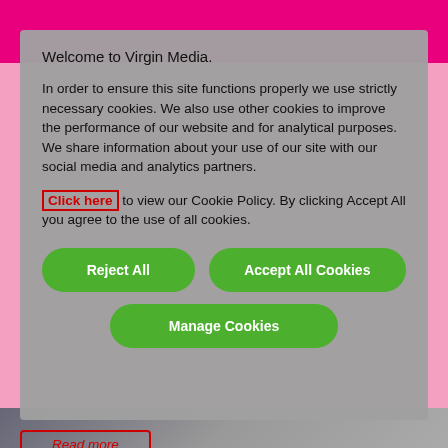Welcome to Virgin Media.
In order to ensure this site functions properly we use strictly necessary cookies. We also use other cookies to improve the performance of our website and for analytical purposes. We share information about your use of our site with our social media and analytics partners.
Click here to view our Cookie Policy. By clicking Accept All you agree to the use of all cookies.
Reject All
Accept All Cookies
Manage Cookies
Read more